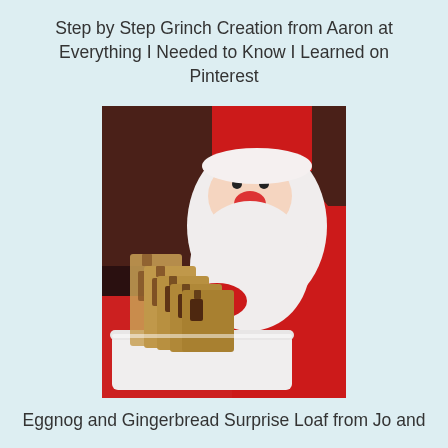Step by Step Grinch Creation from Aaron at Everything I Needed to Know I Learned on Pinterest
[Figure (photo): Photo of sliced gingerbread loaf with gingerbread man shapes inside each slice, arranged on a white rectangular plate, with a fluffy Santa Claus stuffed toy in the background]
Eggnog and Gingerbread Surprise Loaf from Jo and